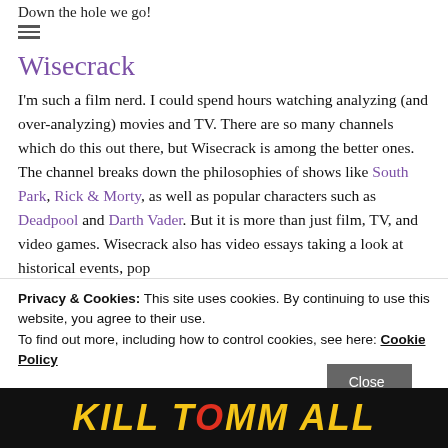Down the hole we go!
≡
Wisecrack
I'm such a film nerd. I could spend hours watching analyzing (and over-analyzing) movies and TV. There are so many channels which do this out there, but Wisecrack is among the better ones. The channel breaks down the philosophies of shows like South Park, Rick & Morty, as well as popular characters such as Deadpool and Darth Vader. But it is more than just film, TV, and video games. Wisecrack also has video essays taking a look at historical events, pop...
Privacy & Cookies: This site uses cookies. By continuing to use this website, you agree to their use.
To find out more, including how to control cookies, see here: Cookie Policy
Close and accept
[Figure (photo): Dark image strip at bottom with yellow and red stylized text beginning with 'KILL' in bold italic font]